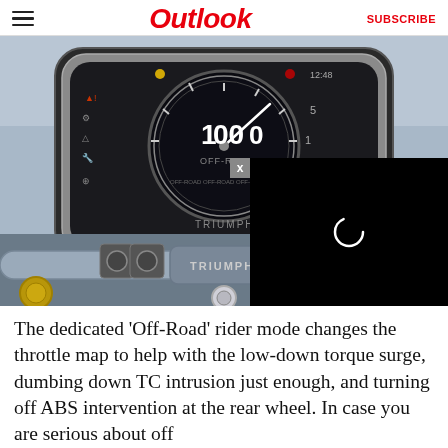Outlook
[Figure (photo): Close-up photo of a Triumph motorcycle dashboard/instrument cluster showing a digital speedometer reading '1000', Off-Road mode selected, and the Triumph handlebar clamp visible below the dash.]
The dedicated 'Off-Road' rider mode changes the throttle map to help with the low-down torque surge, dumbing down TC intrusion just enough, and turning off ABS intervention at the rear wheel. In case you are serious about off